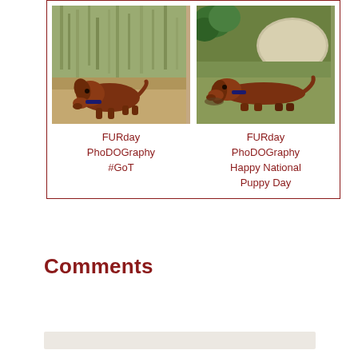[Figure (photo): Two photos side by side inside a dark red border box. Left: a brown dachshund dog sniffing the ground among dried grass/plants. Right: a brown dachshund dog lying on the ground near a stone, in a garden.]
FURday PhoDOGraphy #GoT
FURday PhoDOGraphy Happy National Puppy Day
Comments